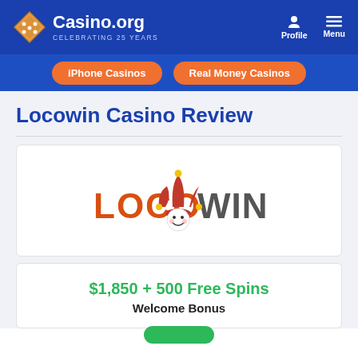Casino.org CELEBRATING 25 YEARS | Profile | Menu
iPhone Casinos
Real Money Casinos
Locowin Casino Review
[Figure (logo): Locowin casino logo with jester hat character between LOCO and WIN text]
$1,850 + 500 Free Spins
Welcome Bonus